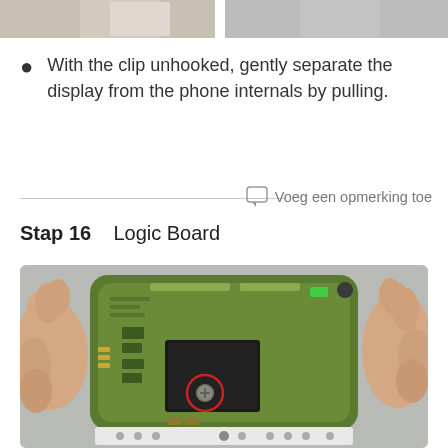[Figure (photo): Partial view of two photos at the top of the page showing phone internals/display separation steps]
With the clip unhooked, gently separate the display from the phone internals by pulling.
Voeg een opmerking toe
Stap 16    Logic Board
[Figure (photo): Hand holding a phone logic board (circuit board, green PCB) with a red circle highlighting a screw location. White plastic keyboard connector visible at the bottom.]